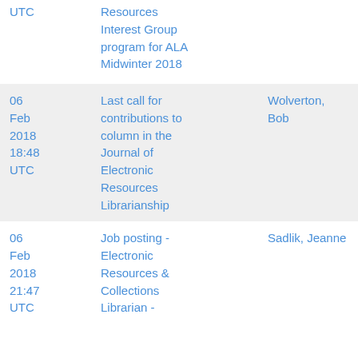| Date | Subject | Author |
| --- | --- | --- |
| UTC | Resources Interest Group program for ALA Midwinter 2018 |  |
| 06 Feb 2018 18:48 UTC | Last call for contributions to column in the Journal of Electronic Resources Librarianship | Wolverton, Bob |
| 06 Feb 2018 21:47 UTC | Job posting - Electronic Resources & Collections Librarian - | Sadlik, Jeanne |